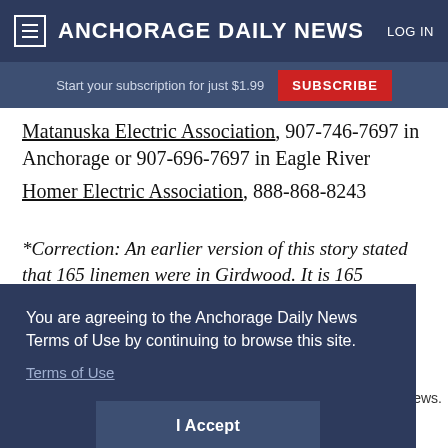ANCHORAGE DAILY NEWS  LOG IN
Start your subscription for just $1.99  SUBSCRIBE
Matanuska Electric Association, 907-746-7697 in Anchorage or 907-696-7697 in Eagle River
Homer Electric Association, 888-868-8243
*Correction: An earlier version of this story stated that 165 linemen were in Girdwood. It is 165 customers.
You are agreeing to the Anchorage Daily News Terms of Use by continuing to browse this site.
Terms of Use
I Accept